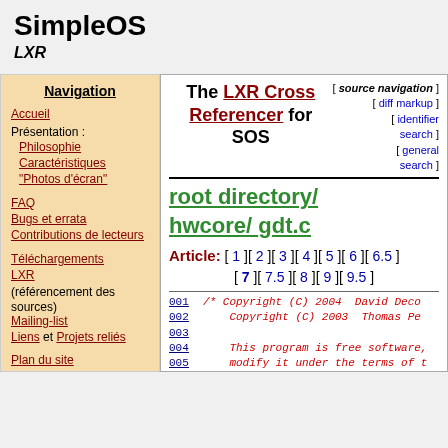SimpleOS
LXR
Navigation
Accueil
Présentation :
Philosophie
Caractéristiques
"Photos d'écran"
FAQ
Bugs et errata
Contributions de lecteurs
Téléchargements
LXR (référencement des sources)
Mailing-list
Liens et Projets reliés
Plan du site
The LXR Cross Referencer for SOS
[ source navigation ] [ diff markup ] [ identifier search ] [ general search ]
root directory/ hwcore/ gdt.c
Article: [ 1 ][ 2 ][ 3 ][ 4 ][ 5 ][ 6 ][ 6.5 ] [ 7 ][ 7.5 ][ 8 ][ 9 ][ 9.5 ]
001    /* Copyright (C) 2004  David Deco
002       Copyright (C) 2003  Thomas Pe
003
004       This program is free software,
005       modify it under the terms of t